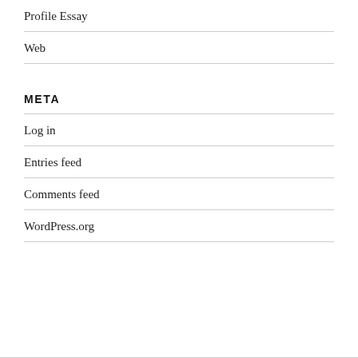Profile Essay
Web
META
Log in
Entries feed
Comments feed
WordPress.org